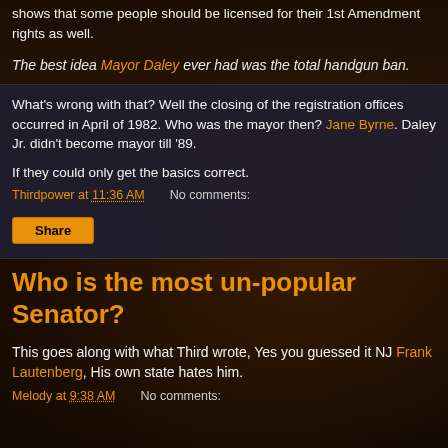shows that some people should be licensed for their 1st Amendment rights as well.
The best idea Mayor Daley ever had was the total handgun ban.
What's wrong with that? Well the closing of the registration offices occurred in April of 1982. Who was the mayor then? Jane Byrne. Daley Jr. didn't become mayor till '89.
If they could only get the basics correct.
Thirdpower at 11:36 AM    No comments:
Share
Who is the most un-popular Senator?
This goes along with what Third wrote, Yes you guessed it NJ Frank Lautenberg, His own state hates him.
Melody at 9:38 AM    No comments: